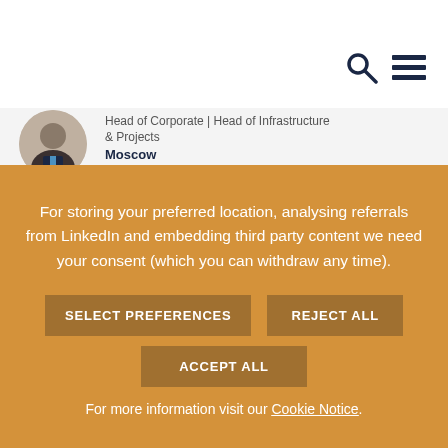Head of Corporate | Head of Infrastructure & Projects
Moscow
For storing your preferred location, analysing referrals from LinkedIn and embedding third party content we need your consent (which you can withdraw any time).
SELECT PREFERENCES
REJECT ALL
ACCEPT ALL
For more information visit our Cookie Notice.